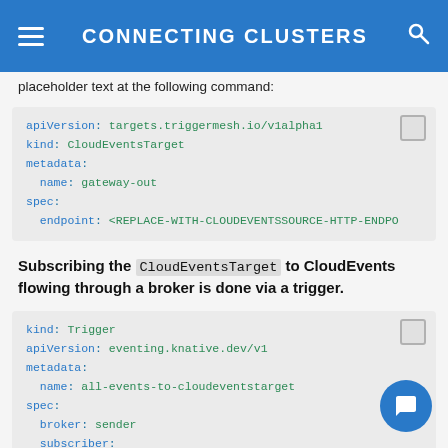CONNECTING CLUSTERS
placeholder text at the following command:
[Figure (screenshot): Code block showing YAML for CloudEventsTarget with apiVersion, kind, metadata name gateway-out, spec endpoint placeholder]
Subscribing the CloudEventsTarget to CloudEvents flowing through a broker is done via a trigger.
[Figure (screenshot): Code block showing YAML for kind: Trigger with apiVersion eventing.knative.dev/v1, metadata name all-events-to-cloudeventstarget, spec broker: sender, subscriber:, ref:]